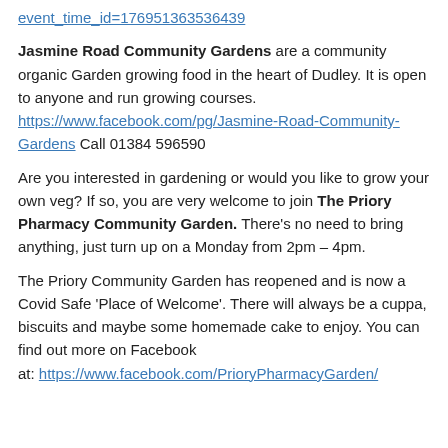event_time_id=176951363536439
Jasmine Road Community Gardens are a community organic Garden growing food in the heart of Dudley. It is open to anyone and run growing courses. https://www.facebook.com/pg/Jasmine-Road-Community-Gardens Call 01384 596590
Are you interested in gardening or would you like to grow your own veg? If so, you are very welcome to join The Priory Pharmacy Community Garden. There's no need to bring anything, just turn up on a Monday from 2pm – 4pm.
The Priory Community Garden has reopened and is now a Covid Safe 'Place of Welcome'. There will always be a cuppa, biscuits and maybe some homemade cake to enjoy. You can find out more on Facebook at: https://www.facebook.com/PrioryPharmacyGarden/